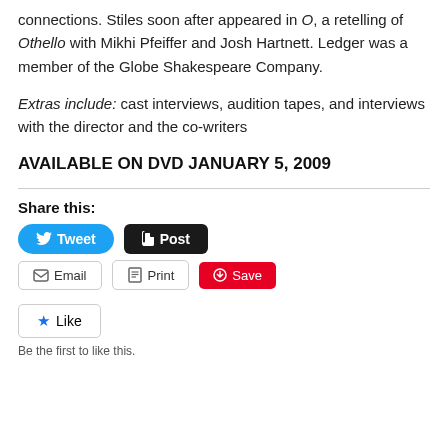connections. Stiles soon after appeared in O, a retelling of Othello with Mikhi Pfeiffer and Josh Hartnett. Ledger was a member of the Globe Shakespeare Company.
Extras include: cast interviews, audition tapes, and interviews with the director and the co-writers
AVAILABLE ON DVD JANUARY 5, 2009
Share this:
Tweet  Post  Email  Print  Save
Like  Be the first to like this.